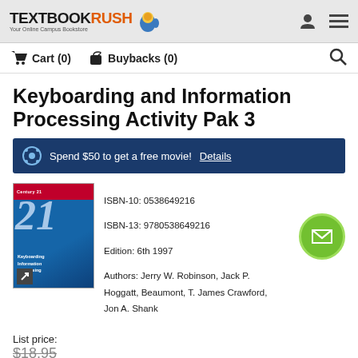TextbookRush — Your Online Campus Bookstore
Cart (0)   Buybacks (0)
Keyboarding and Information Processing Activity Pak 3
Spend $50 to get a free movie! Details
[Figure (photo): Book cover for Keyboarding and Information Processing, showing a blue cover with a large stylized '21' and the title text]
ISBN-10: 0538649216
ISBN-13: 9780538649216
Edition: 6th 1997
Authors: Jerry W. Robinson, Jack P. Hoggatt, Beaumont, T. James Crawford, Jon A. Shank
List price:
$18.95